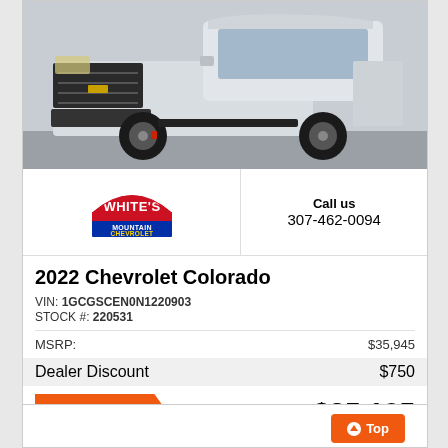[Figure (photo): Front view of a 2022 Chevrolet Colorado truck in silver/white color on a gray parking lot background]
[Figure (logo): White's Mountain Chevrolet dealer logo - red arch with WHITE'S text, blue rectangle with MOUNTAIN CHEVROLET text]
Call us
307-462-0094
2022 Chevrolet Colorado
VIN: 1GCGSCEN0N1220903
STOCK #: 220531
|  |  |
| --- | --- |
| MSRP: | $35,945 |
| Dealer Discount | $750 |
CLICK HERE
$35,195